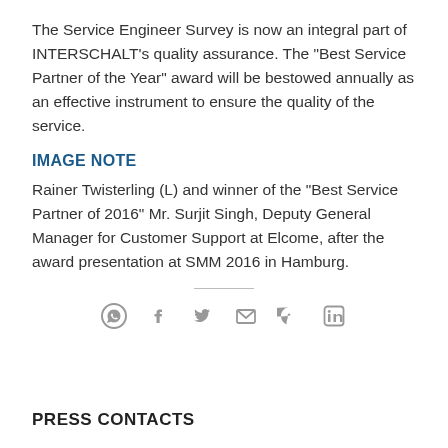The Service Engineer Survey is now an integral part of INTERSCHALT’s quality assurance. The “Best Service Partner of the Year” award will be bestowed annually as an effective instrument to ensure the quality of the service.
IMAGE NOTE
Rainer Twisterling (L) and winner of the “Best Service Partner of 2016” Mr. Surjit Singh, Deputy General Manager for Customer Support at Elcome, after the award presentation at SMM 2016 in Hamburg.
[Figure (other): Social media sharing icons: WhatsApp, Facebook, Twitter, Email, Pinterest, LinkedIn]
PRESS CONTACTS